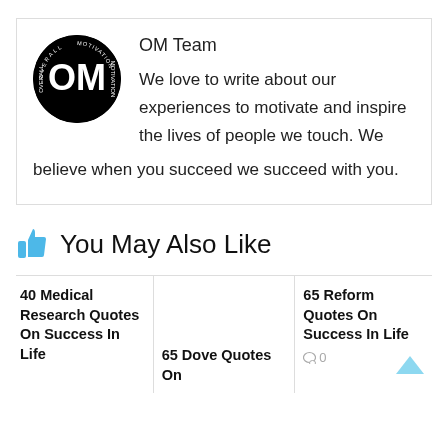[Figure (logo): OM Team circular logo — black circle with white OM letters and text 'OVERALL MOTIVATION' around the edge]
OM Team
We love to write about our experiences to motivate and inspire the lives of people we touch. We believe when you succeed we succeed with you.
You May Also Like
40 Medical Research Quotes On Success In Life
65 Dove Quotes On
65 Reform Quotes On Success In Life